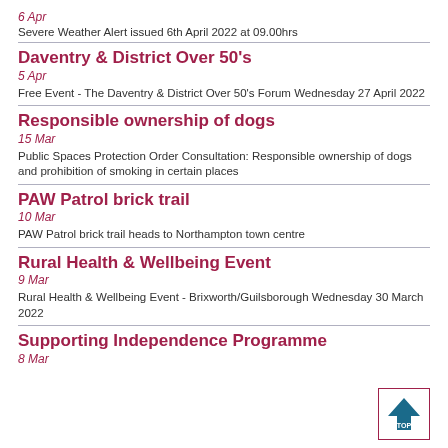6 Apr
Severe Weather Alert issued 6th April 2022 at 09.00hrs
Daventry & District Over 50's
5 Apr
Free Event - The Daventry & District Over 50's Forum Wednesday 27 April 2022
Responsible ownership of dogs
15 Mar
Public Spaces Protection Order Consultation: Responsible ownership of dogs and prohibition of smoking in certain places
PAW Patrol brick trail
10 Mar
PAW Patrol brick trail heads to Northampton town centre
Rural Health & Wellbeing Event
9 Mar
Rural Health & Wellbeing Event - Brixworth/Guilsborough Wednesday 30 March 2022
Supporting Independence Programme
8 Mar